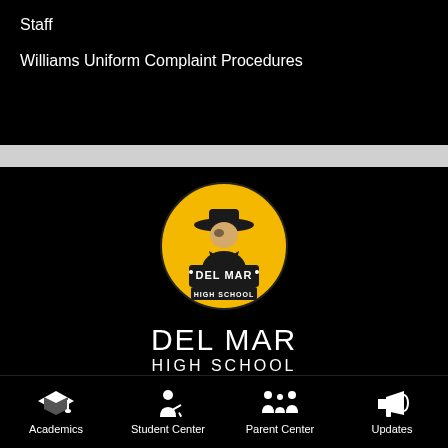Staff
Williams Uniform Complaint Procedures
[Figure (logo): Del Mar High School logo: gold circle with a cowboy mascot figure wearing a hat, text DEL MAR HIGH SCHOOL on the logo]
DEL MAR
HIGH SCHOOL
1224 Del Mar Ave, San Jose, CA 95128
Phone: (408) 626-3403   delmar@cuhsd.org
Academics
Student Center
Parent Center
Updates